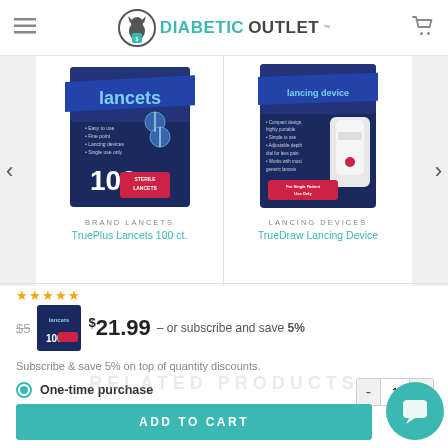DIABETIC OUTLET
[Figure (photo): TruePlus Lancets 100 ct. product box on blue/dark background]
[Figure (photo): TrueDraw Lancing Device product box on blue/dark background]
BRAND LANCETS
TruePlus Lancets 100 ct.
LANCING DEVICES
TrueDraw Lancing Device
[Figure (photo): TruePlus Lancets small product thumbnail]
$21.99 – or subscribe and save 5%
Subscribe & save 5% on top of quantity discounts.
One-time purchase
Subscribe and save 5%
ADD TO CART